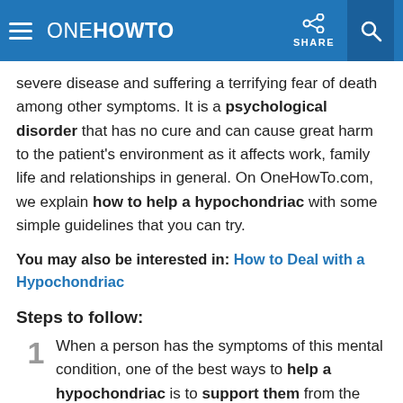ONE HOWTO | SHARE
severe disease and suffering a terrifying fear of death among other symptoms. It is a psychological disorder that has no cure and can cause great harm to the patient's environment as it affects work, family life and relationships in general. On OneHowTo.com, we explain how to help a hypochondriac with some simple guidelines that you can try.
You may also be interested in: How to Deal with a Hypochondriac
Steps to follow:
1 When a person has the symptoms of this mental condition, one of the best ways to help a hypochondriac is to support them from the start of treatment. First and foremost you must accompany them